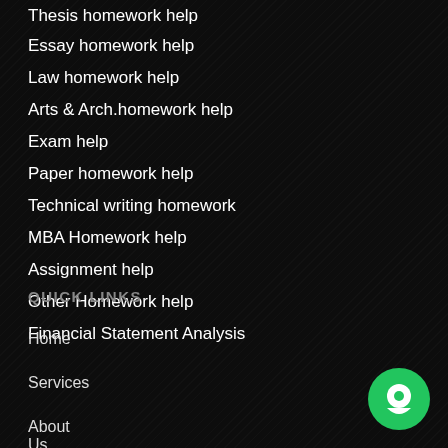Thesis homework help
Essay homework help
Law homework help
Arts & Arch.homework help
Exam help
Paper homework help
Technical writing homework
MBA Homework help
Assignment help
Other Homework help
Financial Statement Analysis
QUICK LINKS
Home
Services
About Us
[Figure (illustration): Green circular chat bubble button in bottom right corner]